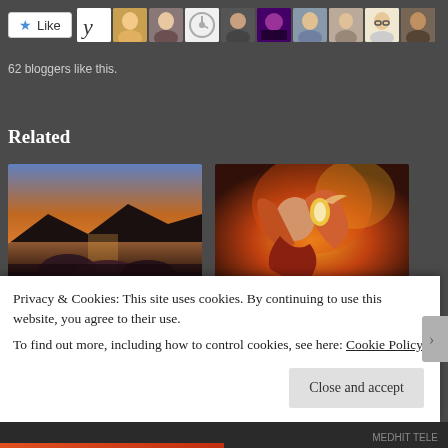[Figure (screenshot): Like button with star icon, followed by a row of blogger avatar thumbnails]
62 bloggers like this.
Related
[Figure (photo): Photo of umbrella silhouettes against a sunset sky over water]
The Big-Blue Umbrella
December 21, 2019
In "Stories"
[Figure (illustration): Fantasy illustration of a red-haired woman with fire and a bird]
Fire IV
March 17, 2020
In "Stories"
Privacy & Cookies: This site uses cookies. By continuing to use this website, you agree to their use.
To find out more, including how to control cookies, see here: Cookie Policy
Close and accept